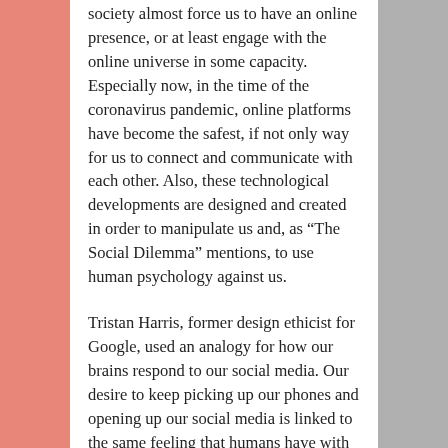society almost force us to have an online presence, or at least engage with the online universe in some capacity. Especially now, in the time of the coronavirus pandemic, online platforms have become the safest, if not only way for us to connect and communicate with each other. Also, these technological developments are designed and created in order to manipulate us and, as “The Social Dilemma” mentions, to use human psychology against us.
Tristan Harris, former design ethicist for Google, used an analogy for how our brains respond to our social media. Our desire to keep picking up our phones and opening up our social media is linked to the same feeling that humans have with slot machines. We always want to keep putting tokens in and pulling the lever, for the chance that we win big, just like we always want to keep picking up the phone to look at our feeds and see what we get. Did we get tagged in a photo on Instagram? Did